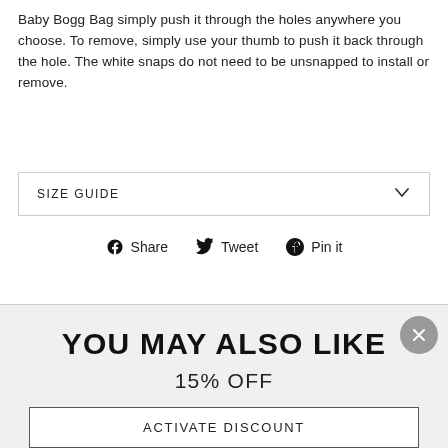Baby Bogg Bag simply push it through the holes anywhere you choose. To remove, simply use your thumb to push it back through the hole. The white snaps do not need to be unsnapped to install or remove.
SIZE GUIDE
Share  Tweet  Pin it
YOU MAY ALSO LIKE
15% OFF
ACTIVATE DISCOUNT